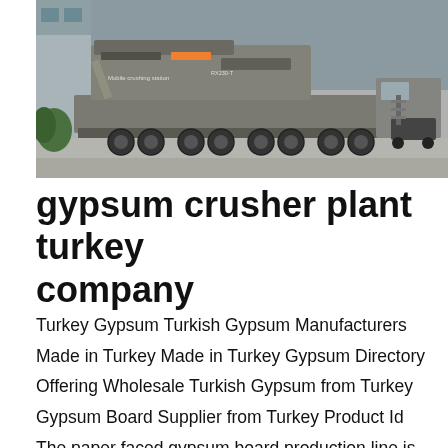[Figure (photo): A large mobile crushing station truck/vehicle photographed outdoors near a building. The machine is heavy industrial equipment mounted on a multi-axle trailer. The text 'Mobile crushing station' is visible on the side of the machine along with model numbers.]
gypsum crusher plant turkey company
Turkey Gypsum Turkish Gypsum Manufacturers Made in Turkey Made in Turkey Gypsum Directory Offering Wholesale Turkish Gypsum from Turkey Gypsum Board Supplier from Turkey Product Id The paper faced gypsum board production line is the professional equipment for producing the new decorated materialOffering Wholesale Turkish Stone Crusher Plant from Turkey Stone Crusher Plant Welcome to our company s gypsum powder production line in Turkey gypsum